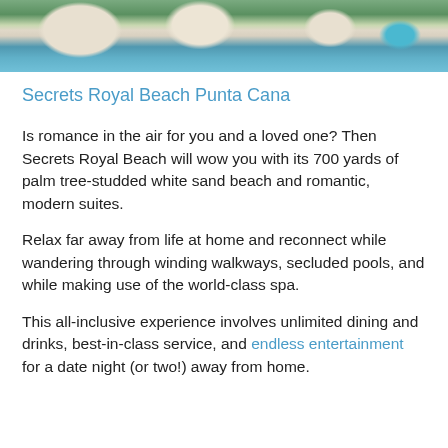[Figure (photo): Aerial or elevated view of a beach resort with white sand, palm trees, beach umbrellas/loungers, and a pool visible at the right edge]
Secrets Royal Beach Punta Cana
Is romance in the air for you and a loved one? Then Secrets Royal Beach will wow you with its 700 yards of palm tree-studded white sand beach and romantic, modern suites.
Relax far away from life at home and reconnect while wandering through winding walkways, secluded pools, and while making use of the world-class spa.
This all-inclusive experience involves unlimited dining and drinks, best-in-class service, and endless entertainment for a date night (or two!) away from home.